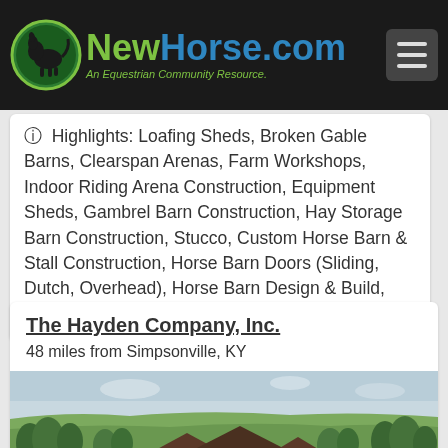NewHorse.com - An Equestrian Community Resource
Highlights: Loafing Sheds, Broken Gable Barns, Clearspan Arenas, Farm Workshops, Indoor Riding Arena Construction, Equipment Sheds, Gambrel Barn Construction, Hay Storage Barn Construction, Stucco, Custom Horse Barn & Stall Construction, Horse Barn Doors (Sliding, Dutch, Overhead), Horse Barn Design & Build, Straight Gable, Green Building
The Hayden Company, Inc.
48 miles from Simpsonville, KY
[Figure (photo): Aerial photo of a horse farm with green fields, trees, and barn buildings with dark roofs]